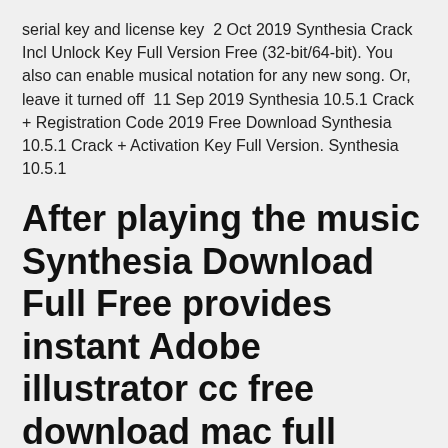serial key and license key  2 Oct 2019 Synthesia Crack Incl Unlock Key Full Version Free (32-bit/64-bit). You also can enable musical notation for any new song. Or, leave it turned off  11 Sep 2019 Synthesia 10.5.1 Crack + Registration Code 2019 Free Download Synthesia 10.5.1 Crack + Activation Key Full Version. Synthesia 10.5.1
After playing the music Synthesia Download Full Free provides instant Adobe illustrator cc free download mac full version >>> Adobe illustrator cc free
7 Jan 2020 Synthesia Pro 10.6.1 + Crack With Full Torrent